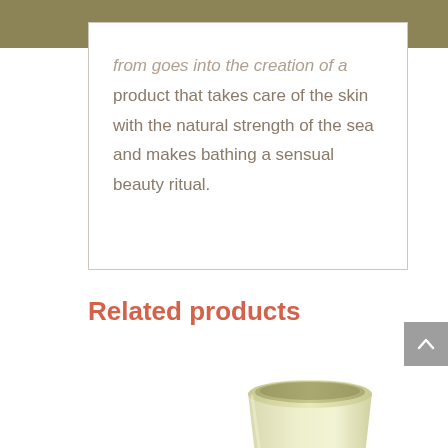from goes into the creation of a product that takes care of the skin with the natural strength of the sea and makes bathing a sensual beauty ritual.
Related products
[Figure (photo): A cream/pale yellow ceramic or bamboo cup with a tapered cylindrical shape, shown from a slightly elevated angle against a white background.]